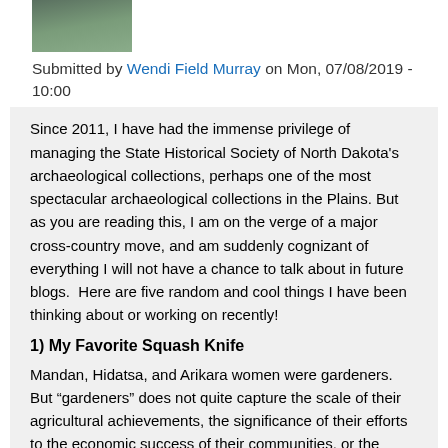[Figure (photo): Small profile photo of a person, partially visible at top of page]
Submitted by Wendi Field Murray on Mon, 07/08/2019 - 10:00
Since 2011, I have had the immense privilege of managing the State Historical Society of North Dakota's archaeological collections, perhaps one of the most spectacular archaeological collections in the Plains. But as you are reading this, I am on the verge of a major cross-country move, and am suddenly cognizant of everything I will not have a chance to talk about in future blogs.  Here are five random and cool things I have been thinking about or working on recently!
1) My Favorite Squash Knife
Mandan, Hidatsa, and Arikara women were gardeners. But “gardeners” does not quite capture the scale of their agricultural achievements, the significance of their efforts to the economic success of their communities, or the physical and intellectual work that went into growing corn, beans, squash, and sunflowers this far north. Families would have plots ranging from 3-5 acres, so that for any village, the “gardens” might cover several hundred acres.
The squashes grown by the three tribes were typically harvested in the fall. They were sliced with squash knives into